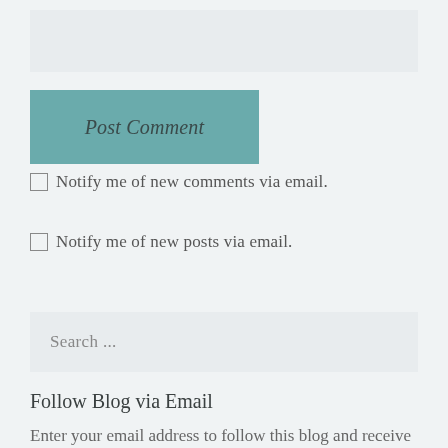[Figure (other): Text area input box (empty)]
Post Comment
Notify me of new comments via email.
Notify me of new posts via email.
[Figure (other): Search input box with placeholder text 'Search ...']
Follow Blog via Email
Enter your email address to follow this blog and receive notifications of new posts by email.